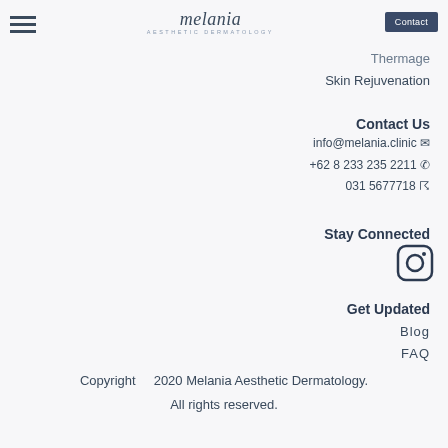Melania Aesthetic Dermatology — Contact
Thermage
Skin Rejuvenation
Contact Us
info@melania.clinic ✉
+62 8 233 235 2211 ☎
031 5677718 ☏
Stay Connected
[Figure (illustration): Instagram icon (rounded square camera outline)]
Get Updated
Blog
FAQ
Copyright    2020 Melania Aesthetic Dermatology.   All rights reserved.